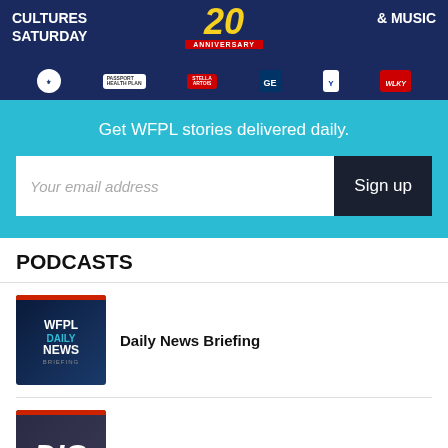[Figure (illustration): Banner advertisement for a 20th Anniversary Cultures & Music Saturday event, featuring logos for Passport Health Plan, Stella Artois, GE, YMCA, and WLKY on a dark navy background.]
Get WFPL stories delivered daily.
Your email address
Sign up
PODCASTS
Daily News Briefing
[Figure (illustration): WFPL Daily News Briefing podcast thumbnail with dark blue background, red bar at top, WFPL text in white, DAILY in teal, NEWS in white, BRIEFING in small text.]
Dig
[Figure (illustration): Dig podcast thumbnail with dark blue/grey background, red bar at top, DIG text in bold white italic, credit card graphic in bottom right.]